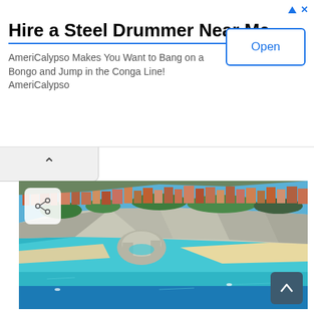[Figure (screenshot): Advertisement banner: 'Hire a Steel Drummer Near Me' - AmeriCalypso Makes You Want to Bang on a Bongo and Jump in the Conga Line! AmeriCalypso. With an Open button on the right.]
[Figure (photo): Aerial photograph of a coastal cliff-top town (Tropea, Calabria, Italy) with colorful buildings perched on white limestone cliffs above turquoise Mediterranean sea, sandy beach, and a rock arch formation in the water.]